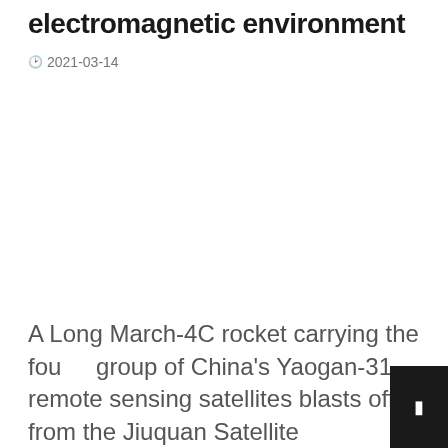electromagnetic environment
📅 2021-03-14
A Long March-4C rocket carrying the fourth group of China's Yaogan-31 remote sensing satellites blasts off from the Jiuquan Satellite